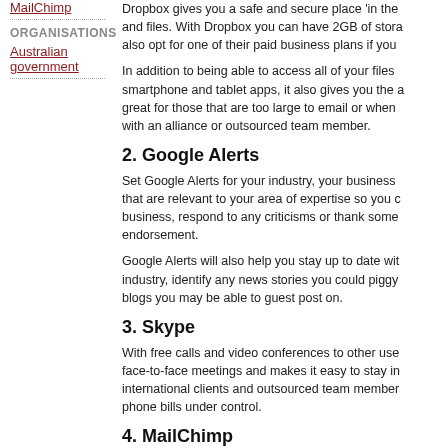MailChimp
ORGANISATIONS
Australian government
Dropbox gives you a safe and secure place 'in the cloud' to store your documents and files. With Dropbox you can have 2GB of storage for free, although you can also opt for one of their paid business plans if you need more storage.
In addition to being able to access all of your files anywhere with their smartphone and tablet apps, it also gives you the ability to share files – great for those that are too large to email or when you are collaborating with an alliance or outsourced team member.
2. Google Alerts
Set Google Alerts for your industry, your business name and search terms that are relevant to your area of expertise so you can keep tabs on your business, respond to any criticisms or thank someone for a positive endorsement.
Google Alerts will also help you stay up to date with what is happening in your industry, identify any news stories you could piggyback on and discover blogs you may be able to guest post on.
3. Skype
With free calls and video conferences to other users, Skype replicates face-to-face meetings and makes it easy to stay in contact with interstate and international clients and outsourced team members, while keeping your phone bills under control.
4. MailChimp